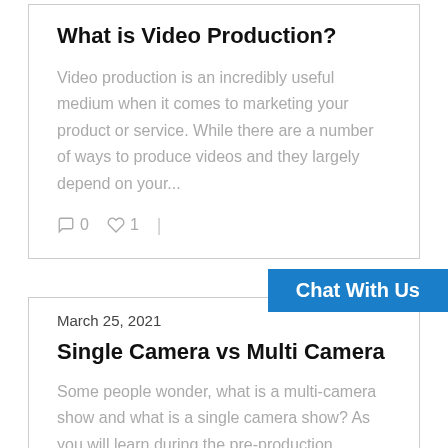What is Video Production?
Video production is an incredibly useful medium when it comes to marketing your product or service. While there are a number of ways to produce videos and they largely depend on your...
0  1 |
Chat With Us
March 25, 2021
Single Camera vs Multi Camera
Some people wonder, what is a multi-camera show and what is a single camera show? As you will learn during the pre-production process...